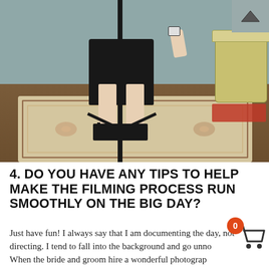[Figure (photo): Photo of a person in a black dress and black sandals standing in an interior room with a patterned rug, dark wood floor, and a decorative side table. A camera tripod is visible in the center of the image.]
4.  DO YOU HAVE ANY TIPS TO HELP MAKE THE FILMING PROCESS RUN SMOOTHLY ON THE BIG DAY?
Just have fun!  I always say that I am documenting the day, not directing.  I tend to fall into the background and go unn... When the bride and groom hire a wonderful photograph... Christen,  my job is easy because she does such a wonderful job